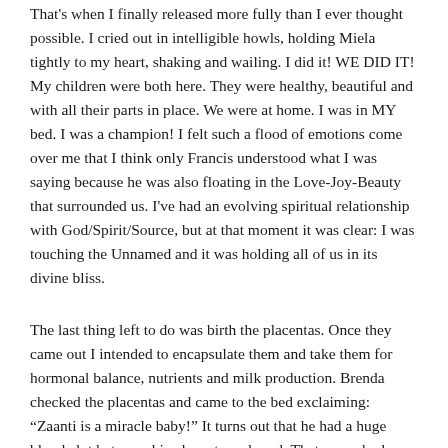That's when I finally released more fully than I ever thought possible.  I cried out in intelligible howls, holding Miela tightly to my heart, shaking and wailing.  I did it!  WE DID IT!  My children were both here.  They were healthy, beautiful and with all their parts in place.  We were at home.  I was in MY bed.  I was a champion!  I felt such a flood of emotions come over me that I think only Francis understood what I was saying because he was also floating in the Love-Joy-Beauty that surrounded us.   I've had an evolving spiritual relationship with God/Spirit/Source, but at that moment it was clear: I was touching the Unnamed and it was holding all of us in its divine bliss.
The last thing left to do was birth the placentas.  Once they came out I intended to encapsulate them and take them for hormonal balance, nutrients and milk production.  Brenda checked the placentas and came to the bed exclaiming: “Zaanti is a miracle baby!”  It turns out that he had a huge blood clot between his placenta and cord.  That was why he wanted to come out early and it also explained